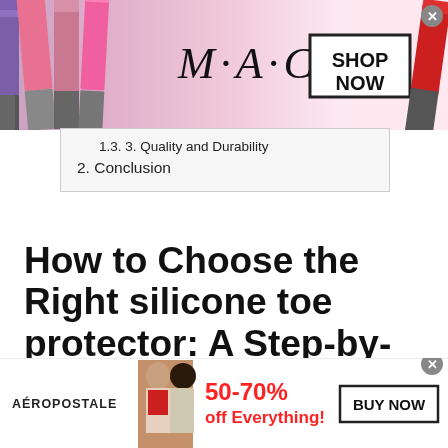[Figure (illustration): MAC Cosmetics advertisement banner with colorful lipsticks on the left and right, MAC logo in center, and a 'SHOP NOW' button in a box. Close button in top right corner.]
1.3. 3. Quality and Durability
2. Conclusion
How to Choose the Right silicone toe protector: A Step-by-Step Guide
Shopping for a silicone toe protector can be an infuriating experience. Here is how to sift through the core value of
[Figure (illustration): Aeropostale advertisement banner with two female models, '50-70% off Everything!' deal text in red, and a 'BUY NOW' button. Close button visible.]